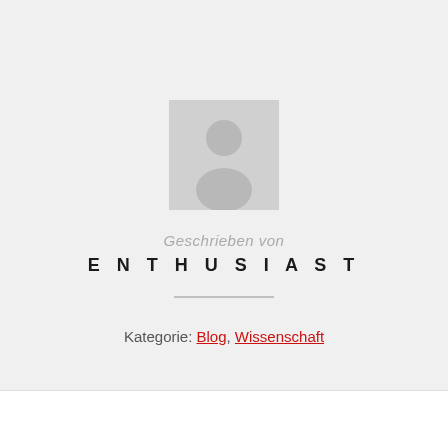[Figure (illustration): Gray placeholder avatar image showing a generic person silhouette icon]
Geschrieben von
ENTHUSIAST
Kategorie: Blog, Wissenschaft